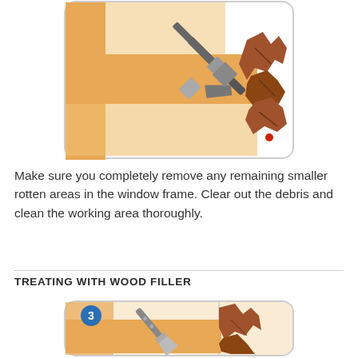[Figure (illustration): Illustration showing a paintbrush being used to clean or treat a rotted wooden window frame corner. The wood shows damage/rot on the right side. Step 2 implied.]
Make sure you completely remove any remaining smaller rotten areas in the window frame. Clear out the debris and clean the working area thoroughly.
TREATING WITH WOOD FILLER
[Figure (illustration): Illustration numbered 3 showing a putty knife/spatula being used to apply wood filler into a rotted area of a wooden window frame. The tool is gray and the wood frame is orange/tan colored with visible rot damage on the right side.]